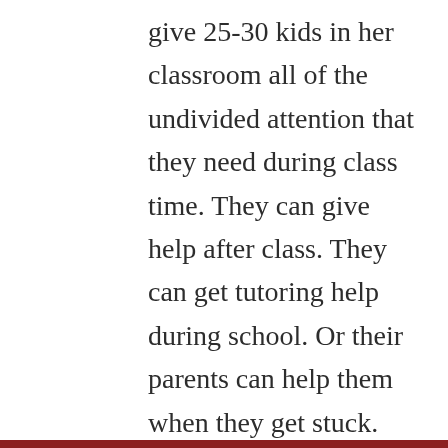give 25-30 kids in her classroom all of the undivided attention that they need during class time. They can give help after class. They can get tutoring help during school. Or their parents can help them when they get stuck. But someone has got to put in the effort. If a teacher has to do it all, then class sizes should be no more than 10.